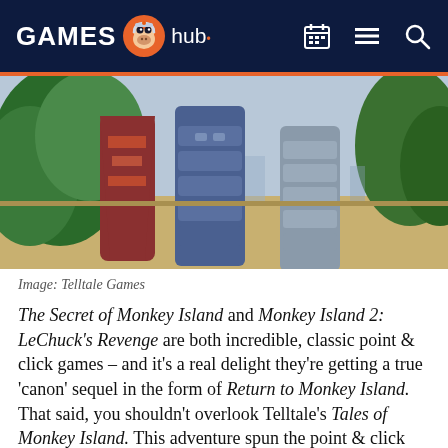GAMES hub
[Figure (screenshot): Cropped screenshot from a Monkey Island game showing cartoon pirate character legs and colorful scene]
Image: Telltale Games
The Secret of Monkey Island and Monkey Island 2: LeChuck's Revenge are both incredible, classic point & click games – and it's a real delight they're getting a true 'canon' sequel in the form of Return to Monkey Island. That said, you shouldn't overlook Telltale's Tales of Monkey Island. This adventure spun the point & click genre in new ways, with a focus on narrative adventure over puzzling – but